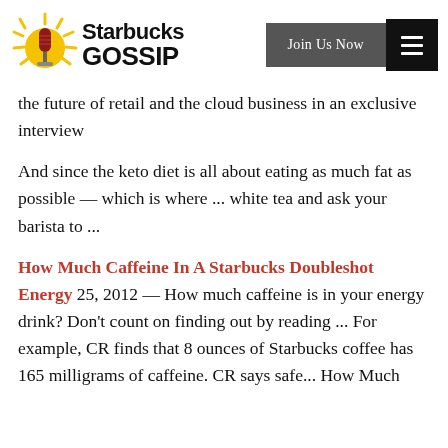[Figure (logo): Starbucks Gossip logo with microphone icon and sunburst, text 'Starbucks GOSSIP']
the future of retail and the cloud business in an exclusive interview
And since the keto diet is all about eating as much fat as possible — which is where ... white tea and ask your barista to ...
How Much Caffeine In A Starbucks Doubleshot Energy 25, 2012 — How much caffeine is in your energy drink? Don't count on finding out by reading ... For example, CR finds that 8 ounces of Starbucks coffee has 165 milligrams of caffeine. CR says safe... How Much